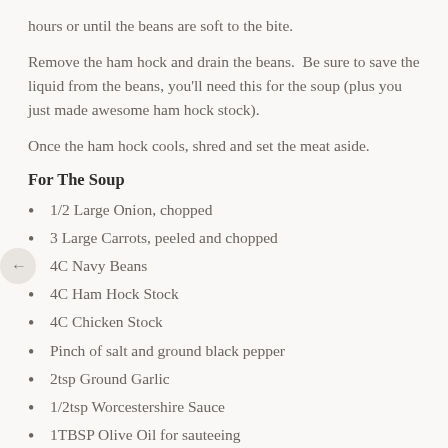hours or until the beans are soft to the bite.
Remove the ham hock and drain the beans.  Be sure to save the liquid from the beans, you'll need this for the soup (plus you just made awesome ham hock stock).
Once the ham hock cools, shred and set the meat aside.
For The Soup
1/2 Large Onion, chopped
3 Large Carrots, peeled and chopped
4C Navy Beans
4C Ham Hock Stock
4C Chicken Stock
Pinch of salt and ground black pepper
2tsp Ground Garlic
1/2tsp Worcestershire Sauce
1TBSP Olive Oil for sauteeing